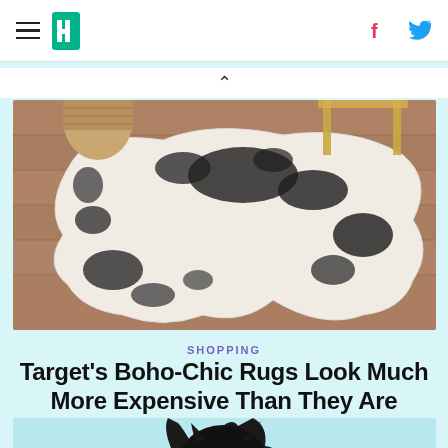HuffPost navigation header with hamburger menu, logo, Facebook and Twitter icons
[Figure (photo): A boho-chic cowhide-print rug on hardwood floor with a wicker basket and gold-legged furniture in the background]
SHOPPING
Target’s Boho-Chic Rugs Look Much More Expensive Than They Are
[Figure (photo): Partial view of a black cat with teal/green glowing eyes against a light blue background]